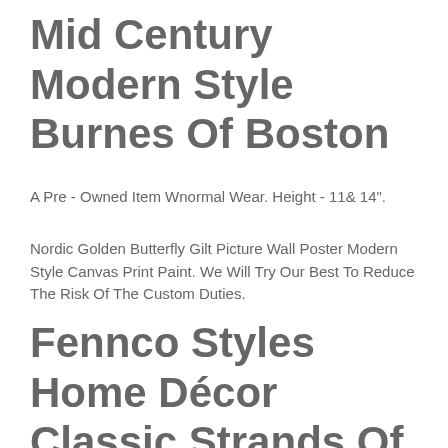Mid Century Modern Style Burnes Of Boston
A Pre - Owned Item Wnormal Wear. Height - 11& 14".
Nordic Golden Butterfly Gilt Picture Wall Poster Modern Style Canvas Print Paint. We Will Try Our Best To Reduce The Risk Of The Custom Duties.
Fennco Styles Home Décor Classic Strands Of Pearl Photo Frame (4" X 6")